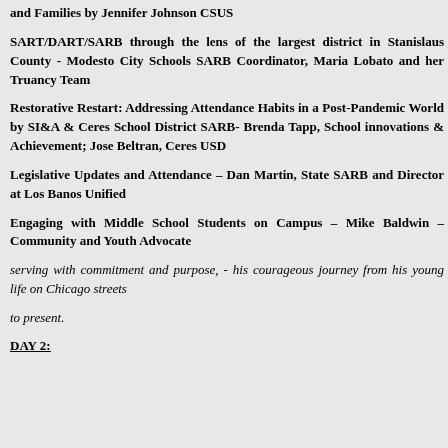and Families by Jennifer Johnson CSUS
SART/DART/SARB through the lens of the largest district in Stanislaus County - Modesto City Schools SARB Coordinator, Maria Lobato and her Truancy Team
Restorative Restart: Addressing Attendance Habits in a Post-Pandemic World by SI&A & Ceres School District SARB- Brenda Tapp, School innovations & Achievement;  Jose Beltran, Ceres USD
Legislative Updates and Attendance – Dan Martin, State SARB and Director at Los Banos Unified
Engaging with Middle School Students on Campus – Mike Baldwin – Community and Youth Advocate
serving with commitment and purpose, - his courageous journey from his young life on Chicago streets
to present.
DAY 2: